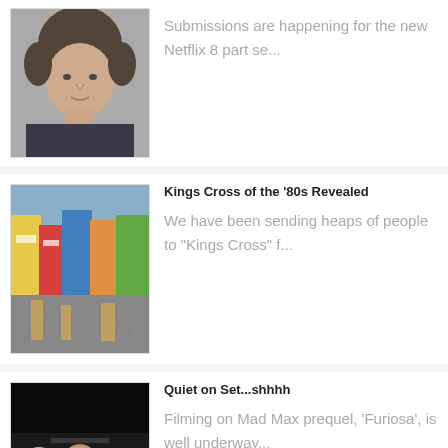[Figure (photo): Headshot of a man with dark hair wearing a dark shirt]
Submissions are happening for the new Netflix 8 part se...
[Figure (photo): Aerial view of Kings Cross street scene from the 1980s]
Kings Cross of the '80s Revealed
We have been sending heaps of people to "Kings Cross" f...
[Figure (photo): Movie still from Mad Max Furiosa showing characters in vehicle]
Quiet on Set...shhhh
Filming on Mad Max prequel, 'Furiosa', is well underway...
[Figure (photo): Movie still from Wolf Like Me Season 2 showing two people]
'Wolf Like Me' S2
Filming of Series 2 of Stan's 'Wolf Like Me' is...